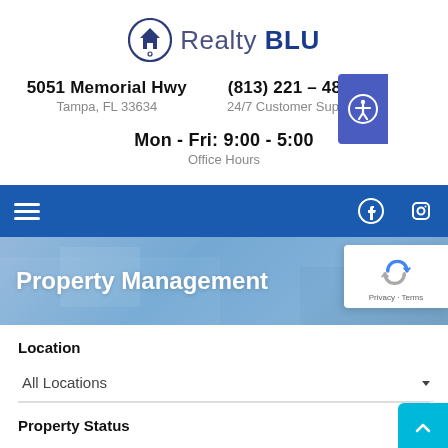[Figure (logo): Realty BLU logo with house icon in circle]
5051 Memorial Hwy   (813) 221 – 4890
Tampa, FL 33634   24/7 Customer Support
Mon - Fri: 9:00 - 5:00
Office Hours
[Figure (screenshot): Blue navigation bar with hamburger menu, Facebook and Instagram icons]
[Figure (photo): Hero image showing a room with blue tones and Property Management title overlay]
Location
All Locations
Property Status
Any